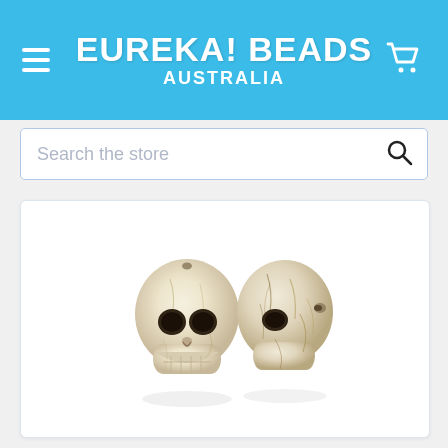EUREKA! BEADS AUSTRALIA
Search the store
[Figure (photo): Two cream/ivory howlite skull beads shown from the front and side angles. The beads are carved in skull shape with eye sockets and facial features visible, with natural brown veining/marbling on the surface.]